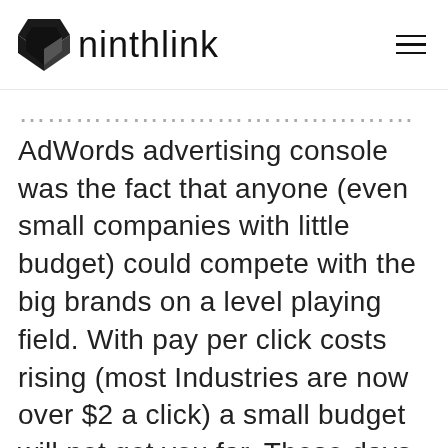ninthlink
AdWords advertising console was the fact that anyone (even small companies with little budget) could compete with the big brands on a level playing field. With pay per click costs rising (most Industries are now over $2 a click) a small budget will not get you far, These days, you need lots of money to play.
Consider this: